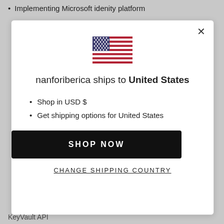Implementing Microsoft idenity platform
[Figure (screenshot): Modal dialog showing a US flag emoji and shipping destination information for nanforiberica]
Shop in USD $
Get shipping options for United States
KeyVault API